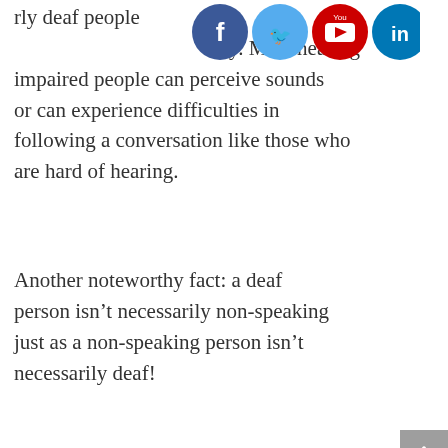[Figure (illustration): Row of social media icons: Facebook (blue circle), Twitter (blue circle), YouTube (red circle), LinkedIn (blue circle) partially overlapping text at top of page]
that completely deaf people can perceive sounds or can experience difficulties in following a conversation like those who are hard of hearing. Most hearing impaired people can perceive sounds or can experience difficulties in following a conversation like those who are hard of hearing.
Another noteworthy fact: a deaf person isn't necessarily non-speaking just as a non-speaking person isn't necessarily deaf!
Seeing that some hearing impaired people cannot properly hear their own voice, their speech may be difficult to understand for others. In fact, all deaf people have the physiological ability to